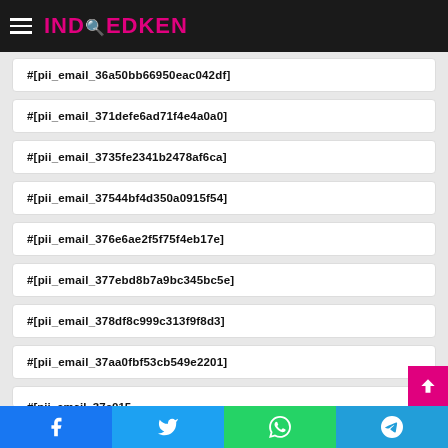IND EDKEN
#[pii_email_36a50bb66950eac042df]
#[pii_email_371defe6ad71f4e4a0a0]
#[pii_email_3735fe2341b2478af6ca]
#[pii_email_37544bf4d350a0915f54]
#[pii_email_376e6ae2f5f75f4eb17e]
#[pii_email_377ebd8b7a9bc345bc5e]
#[pii_email_378df8c999c313f9f8d3]
#[pii_email_37aa0fbf53cb549e2201]
#[pii_email_37c015...]
Facebook Twitter WhatsApp Telegram